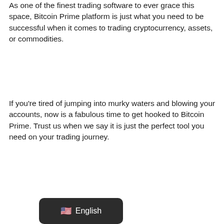As one of the finest trading software to ever grace this space, Bitcoin Prime platform is just what you need to be successful when it comes to trading cryptocurrency, assets, or commodities.
If you're tired of jumping into murky waters and blowing your accounts, now is a fabulous time to get hooked to Bitcoin Prime. Trust us when we say it is just the perfect tool you need on your trading journey.
[Figure (other): Language selector button showing US flag emoji and 'English' text on dark rounded rectangle background]